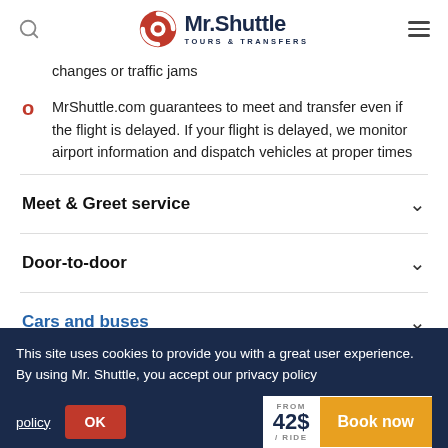Mr.Shuttle Tours & Transfers
changes or traffic jams
MrShuttle.com guarantees to meet and transfer even if the flight is delayed. If your flight is delayed, we monitor airport information and dispatch vehicles at proper times
Meet & Greet service
Door-to-door
Cars and buses
This site uses cookies to provide you with a great user experience. By using Mr. Shuttle, you accept our privacy policy OK
FROM 42$ / RIDE
Book now